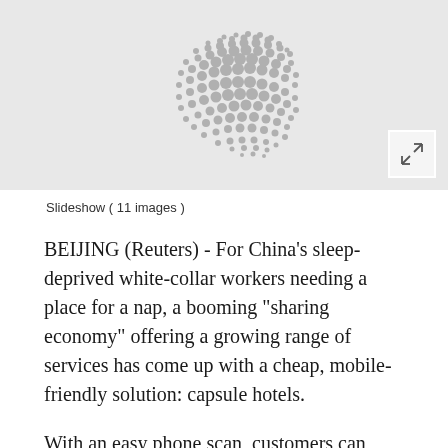[Figure (photo): Slideshow image placeholder with a circular dot pattern graphic in the center on a light gray background, with an expand/fullscreen icon in the bottom right corner]
Slideshow ( 11 images )
BEIJING (Reuters) - For China’s sleep-deprived white-collar workers needing a place for a nap, a booming “sharing economy” offering a growing range of services has come up with a cheap, mobile-friendly solution: capsule hotels.
With an easy phone scan, customers can book a nap in